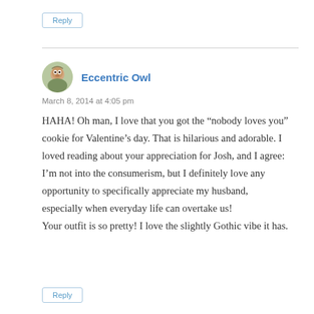Reply
Eccentric Owl
March 8, 2014 at 4:05 pm
HAHA! Oh man, I love that you got the “nobody loves you” cookie for Valentine’s day. That is hilarious and adorable. I loved reading about your appreciation for Josh, and I agree: I’m not into the consumerism, but I definitely love any opportunity to specifically appreciate my husband, especially when everyday life can overtake us!
Your outfit is so pretty! I love the slightly Gothic vibe it has.
Reply